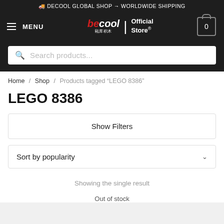🚚 DECOOL GLOBAL SHOP → WORLDWIDE SHIPPING
MENU | Decool Official Store® | 0
Search products...
Home / Shop / Products tagged "LEGO 8386"
LEGO 8386
Show Filters
Sort by popularity
Showing the single result
Out of stock